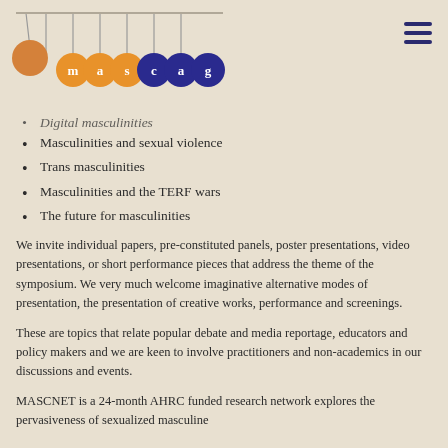[Figure (logo): MASCNET logo with Newton's cradle balls in orange and blue, with letters spelling 'mascage']
Digital masculinities (partial, cut off at top)
Masculinities and sexual violence
Trans masculinities
Masculinities and the TERF wars
The future for masculinities
We invite individual papers, pre-constituted panels, poster presentations, video presentations, or short performance pieces that address the theme of the symposium. We very much welcome imaginative alternative modes of presentation, the presentation of creative works, performance and screenings.
These are topics that relate popular debate and media reportage, educators and policy makers and we are keen to involve practitioners and non-academics in our discussions and events.
MASCNET is a 24-month AHRC funded research network explores the pervasiveness of sexualized masculine